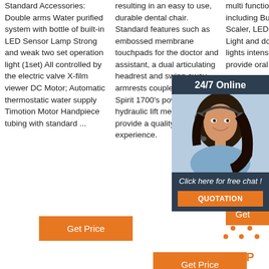Standard Accessories: Double arms Water purified system with bottle of built-in LED Sensor Lamp Strong and weak two set operation light (1set) All controlled by the electric valve X-film viewer DC Motor; Automatic thermostatic water supply Timotion Motor Handpiece tubing with standard ...
resulting in an easy to use, durable dental chair. Standard features such as embossed membrane touchpads for the doctor and assistant, a dual articulating headrest and swing away armrests coupled with the Spirit 1700's powerful hydraulic lift mechanism provide a quality seating experience.
multi functions, including Built-in Scaler, LED Curing Light and double lights intensity to provide oral lighting
[Figure (photo): Customer service representative chat widget with '24/7 Online' header, photo of woman with headset, 'Click here for free chat!' text, and QUOTATION button]
Get Price
Get
[Figure (illustration): TOP icon with orange dots arranged in triangle/arrow shape above the word TOP in orange bold text]